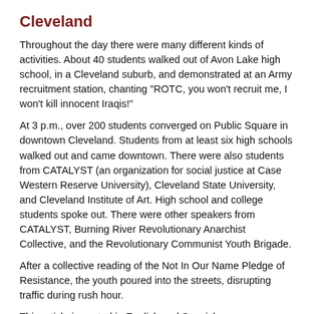Cleveland
Throughout the day there were many different kinds of activities. About 40 students walked out of Avon Lake high school, in a Cleveland suburb, and demonstrated at an Army recruitment station, chanting "ROTC, you won't recruit me, I won't kill innocent Iraqis!"
At 3 p.m., over 200 students converged on Public Square in downtown Cleveland. Students from at least six high schools walked out and came downtown. There were also students from CATALYST (an organization for social justice at Case Western Reserve University), Cleveland State University, and Cleveland Institute of Art. High school and college students spoke out. There were other speakers from CATALYST, Burning River Revolutionary Anarchist Collective, and the Revolutionary Communist Youth Brigade.
After a collective reading of the Not In Our Name Pledge of Resistance, the youth poured into the streets, disrupting traffic during rush hour.
This article is posted in English and Spanish on Revolutionary Worker Online
http://rwor.org
Write: Box 3486, Merchandise Mart, Chicago, IL 60654
Phone: 773-227-4066 Fax: 773-227-4497